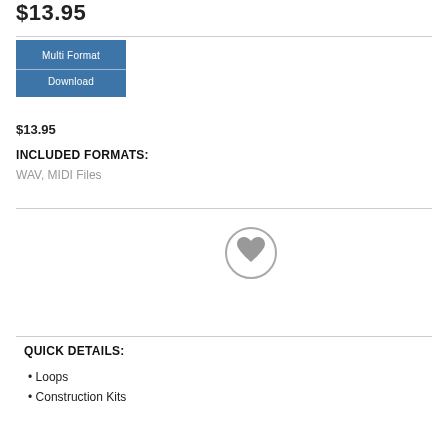$13.95
[Figure (other): Blue button with 'Multi Format' label on top and 'Download' label on bottom, separated by a horizontal white line]
$13.95
INCLUDED FORMATS:
WAV, MIDI Files
[Figure (other): Black 'ADD TO CART' button and a gray circle with a heart icon]
QUICK DETAILS:
Loops
Construction Kits